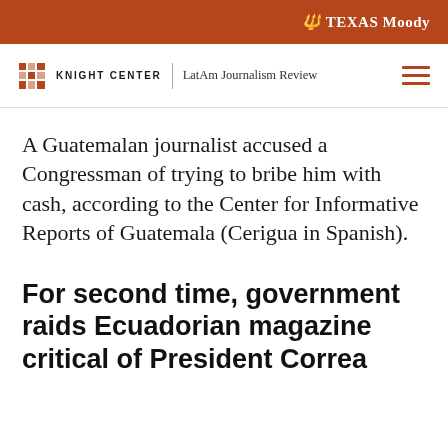TEXAS Moody
KNIGHT CENTER | LatAm Journalism Review
A Guatemalan journalist accused a Congressman of trying to bribe him with cash, according to the Center for Informative Reports of Guatemala (Cerigua in Spanish).
For second time, government raids Ecuadorian magazine critical of President Correa